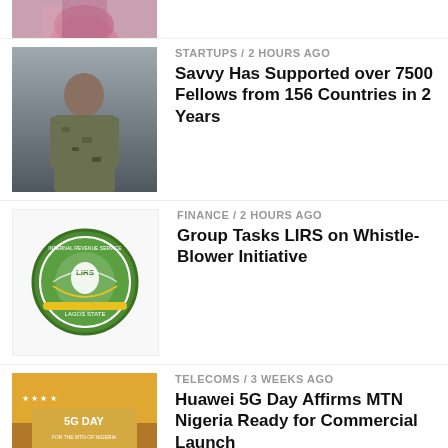[Figure (photo): Partial cropped photo at top of page - person in colorful outfit]
[Figure (photo): Photo of a young man in camouflage jacket]
STARTUPS / 2 hours ago
Savvy Has Supported over 7500 Fellows from 156 Countries in 2 Years
[Figure (logo): LIRS - Lagos Inland Revenue Service logo, green circular badge]
FINANCE / 2 hours ago
Group Tasks LIRS on Whistle-Blower Initiative
[Figure (photo): Group photo at Huawei 5G Day event with '5G DAY' banner]
TELECOMS / 3 weeks ago
Huawei 5G Day Affirms MTN Nigeria Ready for Commercial Launch
[Figure (photo): Group of people at S3N2022 event, dark background]
EDUTECH / 3 weeks ago
S3N2022: Pantami Gifts N1m to Zara Ezenwoko, Three Other NCS National IT Whizkids Champions
[Figure (photo): Cybersecurity themed image with text CYBER ATTACK repeated]
CYBERSECURITY / 2 weeks ago
ESET Details How War in Ukraine has Changed the Threat Landscape